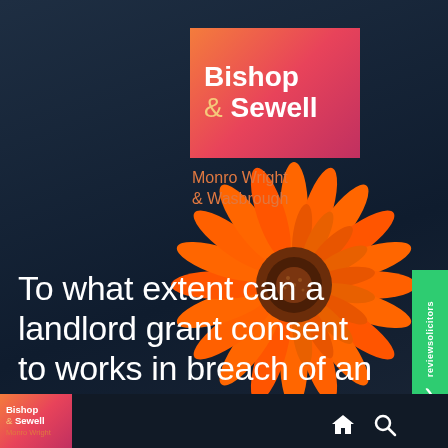[Figure (illustration): Large orange gerbera daisy flower photographed against dark background, positioned in right-center of image]
Bishop & Sewell
Monro Wright & Wasbrough
To what extent can a landlord grant consent to works in breach of an absolute restriction in a
[Figure (logo): reviewsolicitors green vertical badge with checkmark]
Bishop & Sewell Monro Wright